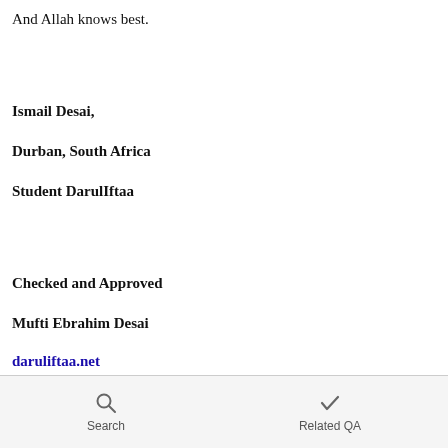And Allah knows best.
Ismail Desai,
Durban, South Africa
Student DarulIftaa
Checked and Approved
Mufti Ebrahim Desai
daruliftaa.net
Search   Related QA